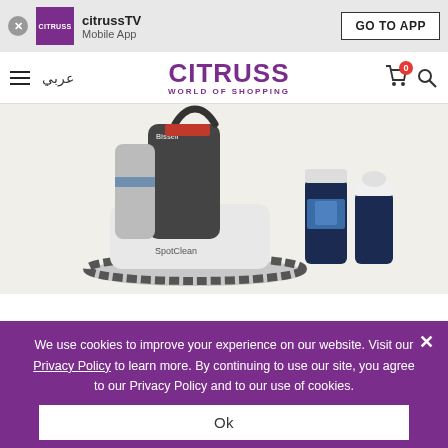citrussTV Mobile App — GO TO APP
[Figure (logo): CITRUSS WORLD OF SHOPPING logo with hamburger menu and Arabic text عربي, cart icon with badge 0, and search icon in navigation bar]
[Figure (photo): Bissell SpotClean portable carpet cleaner machine with hose and two cleaning solution bottles on a light background]
We use cookies to improve your experience on our website. Visit our Privacy Policy to learn more. By continuing to use our site, you agree to our Privacy Policy and to our use of cookies.
Ok